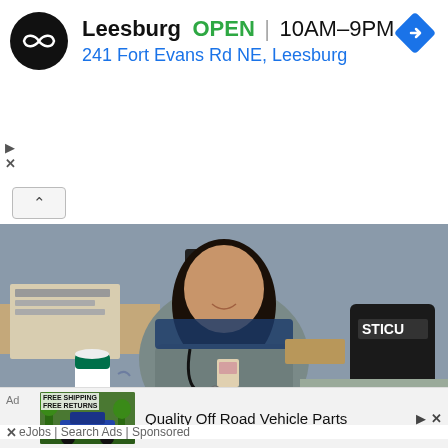[Figure (screenshot): Top advertisement banner: Leesburg store ad with infinity-loop logo, OPEN status, hours 10AM-9PM, address 241 Fort Evans Rd NE Leesburg, and a navigation diamond icon]
[Figure (photo): Photograph of a female nurse in gray scrubs seated at a desk, holding a Starbucks cup, with a stethoscope, ID badge, and STICU labeled equipment bag visible in background]
Ashburn Nurse Salaries - See What A Nurse Earns In 2022
eJobs | Search Ads | Sponsored
[Figure (photo): Bottom ad thumbnail showing an off-road vehicle in outdoor terrain with FREE SHIPPING FREE RETURNS label]
Quality Off Road Vehicle Parts